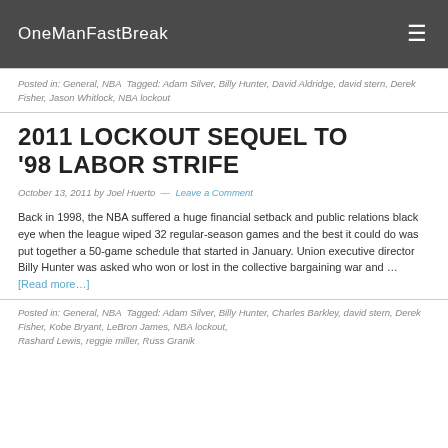OneManFastBreak
Posted in: General, NBA Tagged: Adam Silver, Billy Hunter, David Aldridge, david stern, Derek Fisher, Jason Whitlock, NBA lockout
2011 LOCKOUT SEQUEL TO '98 LABOR STRIFE
October 13, 2011 by Joel Huerto — Leave a Comment
Back in 1998, the NBA suffered a huge financial setback and public relations black eye when the league wiped 32 regular-season games and the best it could do was put together a 50-game schedule that started in January. Union executive director Billy Hunter was asked who won or lost in the collective bargaining war and … [Read more…]
Posted in: General, NBA Tagged: Adam Silver, Billy Hunter, Charles Barkley, david stern, Derek Fisher, Kobe Bryant, LeBron James, NBA lockout, Rashard Lewis, reggie miller, Russ Granik